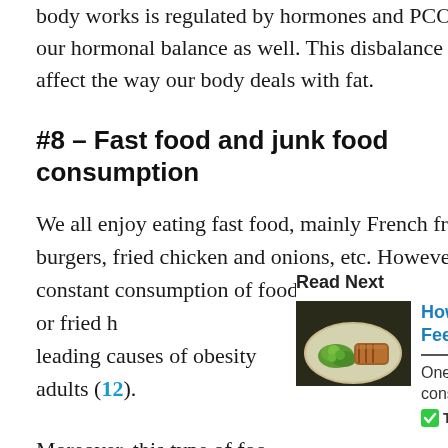Ovarian Syndrome (PCOS) (11). The way our body works is regulated by hormones and PCOS affects our hormonal balance as well. This disbalance can affect the way our body deals with fat.
#8 – Fast food and junk food consumption
We all enjoy eating fast food, mainly French fries, burgers, fried chicken and onions, etc. However, constant consumption of food that is prepared quickly or fried has been one of the leading causes of obesity in children and adults (12).
Read Next
[Figure (photo): A plate of food including what appears to be green vegetables and meat on a dark background]
How to Eat S... Feel Full
One importan... consume fewe...
TrustedSite
Moreover, this type of foo... dangerous when it comes...